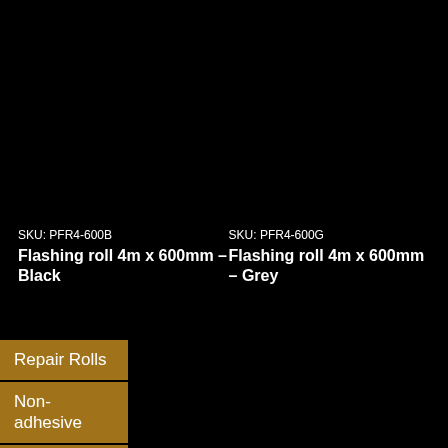SKU: PFR4-600B
Flashing roll 4m x 600mm – Black
SKU: PFR4-600G
Flashing roll 4m x 600mm – Grey
Repair Rolls
Non-adhesive
Fully